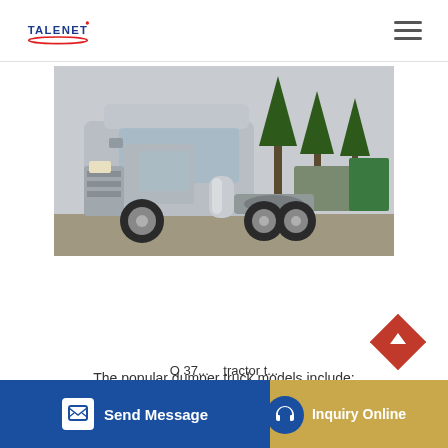TALENET
[Figure (photo): Silver/gray HOWO tractor truck parked in a lot with trees in the background. Front-right side view showing cab, wheels, and fifth wheel coupling.]
The popular dumper truck models include:
O 37... tractor t...
Send Message | Inquiry Online